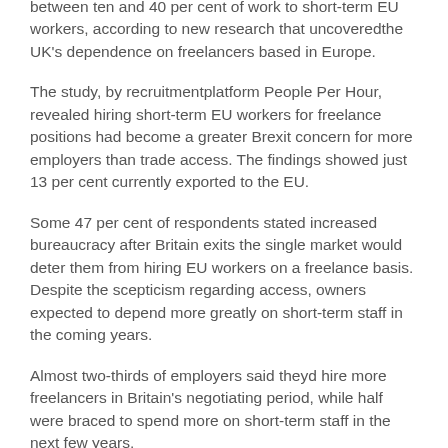between ten and 40 per cent of work to short-term EU workers, according to new research that uncoveredthe UK's dependence on freelancers based in Europe.
The study, by recruitmentplatform People Per Hour, revealed hiring short-term EU workers for freelance positions had become a greater Brexit concern for more employers than trade access. The findings showed just 13 per cent currently exported to the EU.
Some 47 per cent of respondents stated increased bureaucracy after Britain exits the single market would deter them from hiring EU workers on a freelance basis. Despite the scepticism regarding access, owners expected to depend more greatly on short-term staff in the coming years.
Almost two-thirds of employers said theyd hire more freelancers in Britain's negotiating period, while half were braced to spend more on short-term staff in the next few years.
Commenting on the findings, Xenios Thrasyvoulou, PeoplePerHour found and CEO, said it was crucial? the